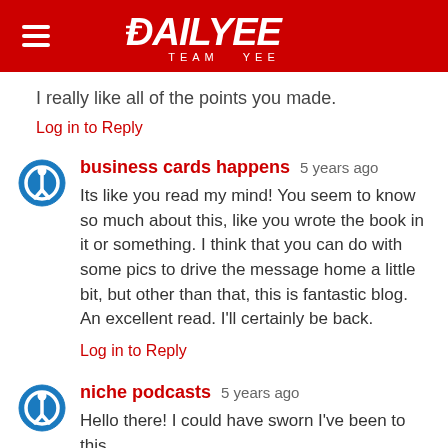DAILYEE TEAM YEE
I really like all of the points you made.
Log in to Reply
business cards happens  5 years ago
Its like you read my mind! You seem to know so much about this, like you wrote the book in it or something. I think that you can do with some pics to drive the message home a little bit, but other than that, this is fantastic blog. An excellent read. I'll certainly be back.
Log in to Reply
niche podcasts  5 years ago
Hello there! I could have sworn I've been to this